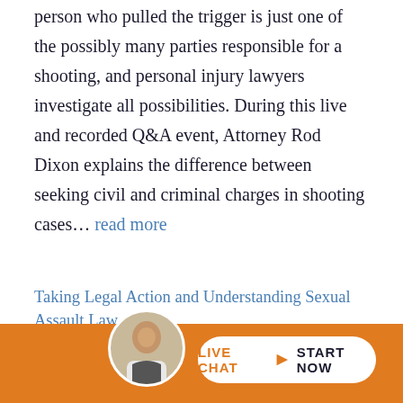person who pulled the trigger is just one of the possibly many parties responsible for a shooting, and personal injury lawyers investigate all possibilities. During this live and recorded Q&A event, Attorney Rod Dixon explains the difference between seeking civil and criminal charges in shooting cases... read more
Taking Legal Action and Understanding Sexual Assault Law
Posted in Negligent Security,Personal Injury,Sexual Assault and Rape,Uncategorized on September 20, 2021
LIVE CHAT START NOW